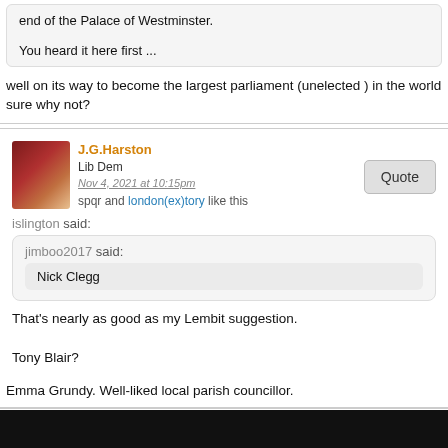end of the Palace of Westminster.

You heard it here first ...
well on its way to become the largest parliament (unelected ) in the world sure why not?
J.G.Harston
Lib Dem
Nov 4, 2021 at 10:15pm
spqr and london(ex)tory like this
islington said:
jimboo2017 said:
Nick Clegg
That's nearly as good as my Lembit suggestion.
Tony Blair?
Emma Grundy. Well-liked local parish councillor.
right
Conservative